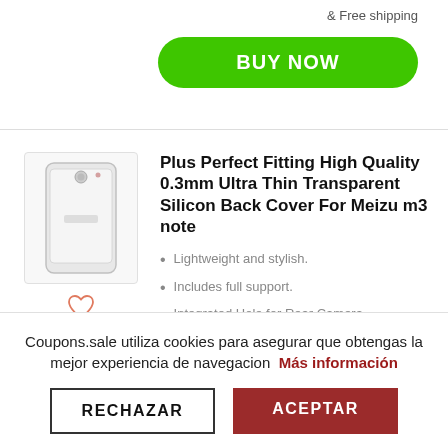& Free shipping
BUY NOW
[Figure (photo): Meizu m3 note transparent silicon back cover product image]
Plus Perfect Fitting High Quality 0.3mm Ultra Thin Transparent Silicon Back Cover For Meizu m3 note
Lightweight and stylish.
Includes full support.
Integrated Hole for Rear Camera.
Coupons.sale utiliza cookies para asegurar que obtengas la mejor experiencia de navegacion  Más información
RECHAZAR
ACEPTAR